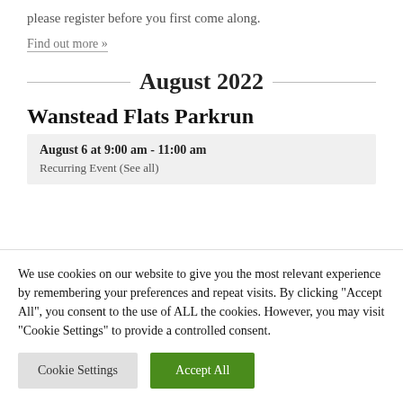please register before you first come along.
Find out more »
August 2022
Wanstead Flats Parkrun
August 6 at 9:00 am - 11:00 am
Recurring Event (See all)
We use cookies on our website to give you the most relevant experience by remembering your preferences and repeat visits. By clicking "Accept All", you consent to the use of ALL the cookies. However, you may visit "Cookie Settings" to provide a controlled consent.